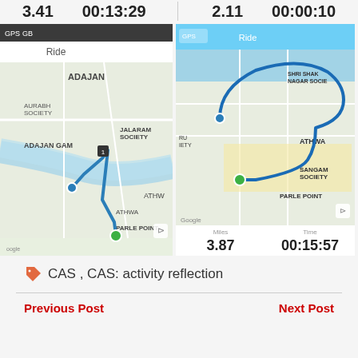3.41   00:13:29   2.11   00:00:10
[Figure (screenshot): Left map screenshot showing a cycling/running route in Adajan area, Surat. The route (blue line) goes from Adajan area through JALARAM SOCIETY crossing a river to ATHWA and ending at PARLE POINT. Shows Miles and Time stats at bottom not visible. GPS and GB indicators at top.]
[Figure (screenshot): Right map screenshot showing a cycling/running route from SHRI SHAK NAGAR SOCIE area through ATHWA to SANGAM SOCIETY and ending near PARLE POINT (green dot). Route shown as blue line. Miles: 3.87, Time: 00:15:57]
Miles 3.87   Time 00:15:57
CAS , CAS: activity reflection
Previous Post   Next Post